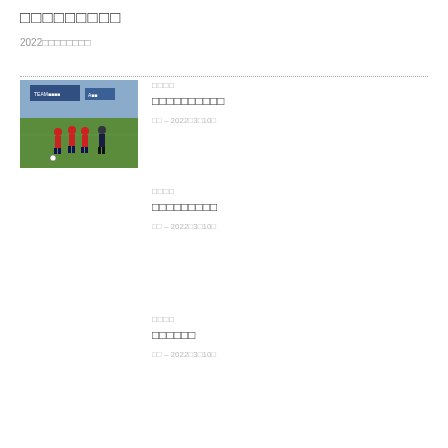□□□□□□□□□
2022□□□□□□□□
□□□□
□□□□□□□□□□
□□ – 2022□3□10□
□□□□
□□□□□□□□□
□□ – 2022□3□10□
□□□□
□□□□□□
□□ – 2022□3□10□